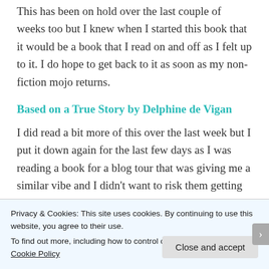This has been on hold over the last couple of weeks too but I knew when I started this book that it would be a book that I read on and off as I felt up to it. I do hope to get back to it as soon as my non-fiction mojo returns.
Based on a True Story by Delphine de Vigan
I did read a bit more of this over the last week but I put it down again for the last few days as I was reading a book for a blog tour that was giving me a similar vibe and I didn't want to risk them getting confused in my head. I will be picking this back up in the next day or so
Privacy & Cookies: This site uses cookies. By continuing to use this website, you agree to their use.
To find out more, including how to control cookies, see here: Cookie Policy
Close and accept